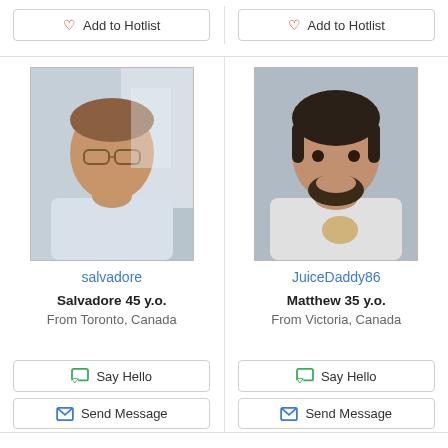[Figure (other): Button: Add to Hotlist (left column, top)]
[Figure (other): Button: Add to Hotlist (right column, top)]
[Figure (photo): Profile photo of salvadore - man with glasses, white shirt]
salvadore
Salvadore 45 y.o.
From Toronto, Canada
[Figure (photo): Profile photo of JuiceDaddy86 - man with beard, white shirt]
JuiceDaddy86
Matthew 35 y.o.
From Victoria, Canada
[Figure (other): Button: Say Hello (left column)]
[Figure (other): Button: Send Message (left column)]
[Figure (other): Button: Say Hello (right column)]
[Figure (other): Button: Send Message (right column)]